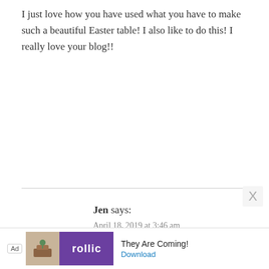I just love how you have used what you have to make such a beautiful Easter table! I also like to do this! I really love your blog!!
Reply
Jen says:
April 18, 2019 at 3:46 am
Such beautiful decorations and I love the story of your table.
Reply
[Figure (other): Advertisement banner for 'rollic' app with tagline 'They Are Coming!' and a Download link]